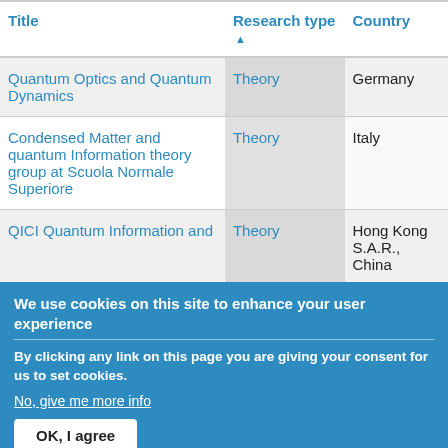| Title | Research type▲ | Country |
| --- | --- | --- |
| Quantum Optics and Quantum Dynamics | Theory | Germany |
| Condensed Matter and quantum Information theory group at Scuola Normale Superiore | Theory | Italy |
| QICI Quantum Information and… | Theory | Hong Kong S.A.R., China |
We use cookies on this site to enhance your user experience
By clicking any link on this page you are giving your consent for us to set cookies.
No, give me more info
OK, I agree